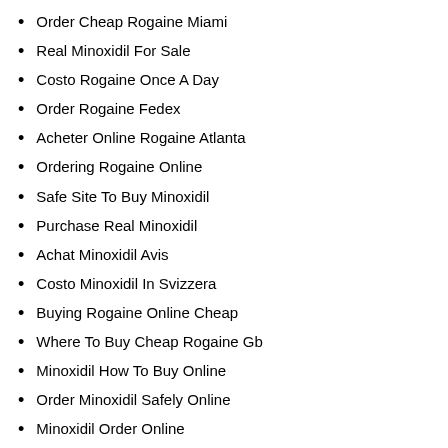Order Cheap Rogaine Miami
Real Minoxidil For Sale
Costo Rogaine Once A Day
Order Rogaine Fedex
Acheter Online Rogaine Atlanta
Ordering Rogaine Online
Safe Site To Buy Minoxidil
Purchase Real Minoxidil
Achat Minoxidil Avis
Costo Minoxidil In Svizzera
Buying Rogaine Online Cheap
Where To Buy Cheap Rogaine Gb
Minoxidil How To Buy Online
Order Minoxidil Safely Online
Minoxidil Order Online
Where To Get Cheap Rogaine Paris
Us Cheap Rogaine Where To Buy
Where To Purchase Generic Rogaine Sweden